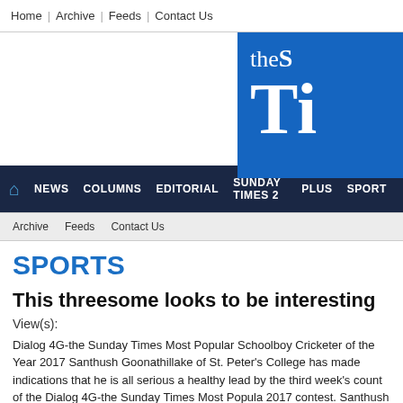Home | Archive | Feeds | Contact Us
[Figure (logo): Sunday Times newspaper logo — blue box with 'the S' and large 'TI' text in white on blue background]
🏠 NEWS  COLUMNS  EDITORIAL  SUNDAY TIMES 2  PLUS  SPORT
Archive   Feeds   Contact Us
SPORTS
This threesome looks to be interesting
View(s):
Dialog 4G-the Sunday Times Most Popular Schoolboy Cricketer of the Year 2017 Santhush Goonathillake of St. Peter's College has made indications that he is all serious a healthy lead by the third week's count of the Dialog 4G-the Sunday Times Most Popula 2017 contest. Santhush lead the All-Island Schools category with a tally of 620 votes.